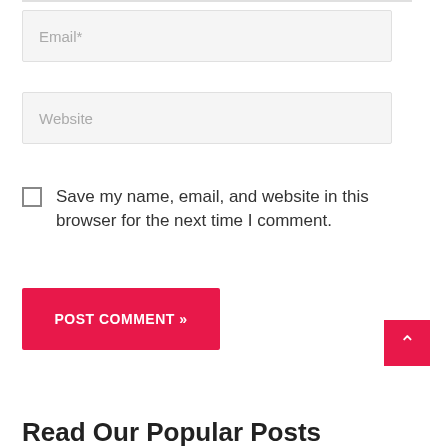Email*
Website
Save my name, email, and website in this browser for the next time I comment.
POST COMMENT »
Read Our Popular Posts